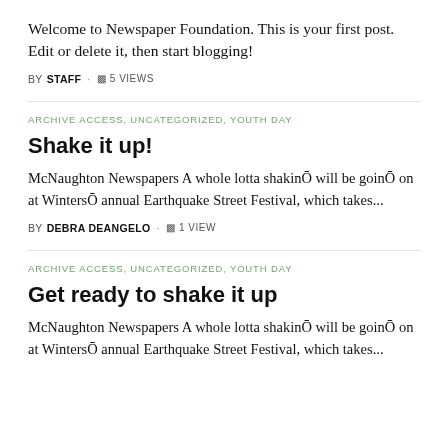Welcome to Newspaper Foundation. This is your first post. Edit or delete it, then start blogging!
BY STAFF · 5 VIEWS
ARCHIVE ACCESS, UNCATEGORIZED, YOUTH DAY
Shake it up!
McNaughton Newspapers A whole lotta shakinŌ will be goinŌ on at WintersŌ annual Earthquake Street Festival, which takes...
BY DEBRA DEANGELO · 1 VIEW
ARCHIVE ACCESS, UNCATEGORIZED, YOUTH DAY
Get ready to shake it up
McNaughton Newspapers A whole lotta shakinŌ will be goinŌ on at WintersŌ annual Earthquake Street Festival, which takes...